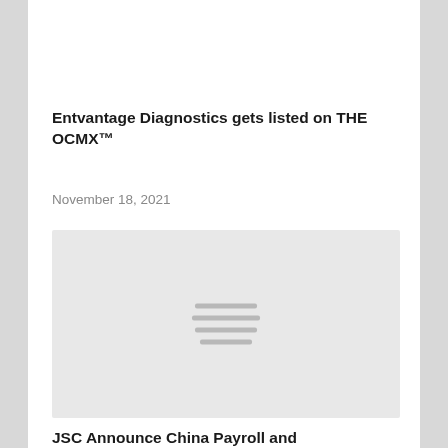Entvantage Diagnostics gets listed on THE OCMX™
November 18, 2021
[Figure (photo): Gray placeholder image with horizontal menu icon lines in the center]
JSC Announce China Payroll and Employment